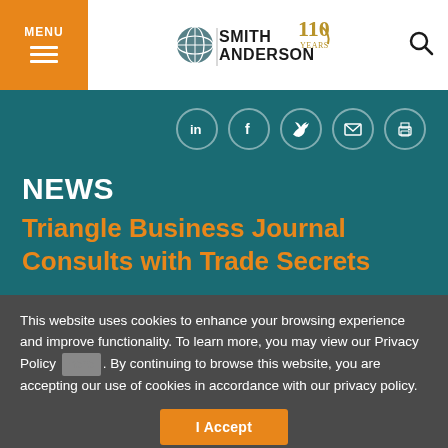MENU | Smith Anderson 110 Years [logo]
[Figure (logo): Smith Anderson 110 Years logo with globe icon]
[Figure (infographic): Social share icons: LinkedIn, Facebook, Twitter, Email, Print — circles with icons]
NEWS
Triangle Business Journal Consults with Trade Secrets
This website uses cookies to enhance your browsing experience and improve functionality. To learn more, you may view our Privacy Policy [link]. By continuing to browse this website, you are accepting our use of cookies in accordance with our privacy policy.
I Accept